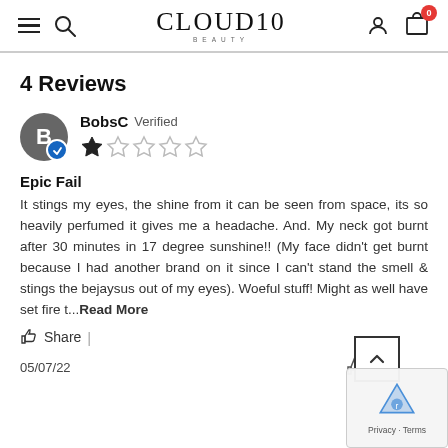CLOUD10 BEAUTY — navigation header with hamburger menu, search, logo, user icon, and cart (0)
4 Reviews
BobsC Verified — 1 star rating
Epic Fail
It stings my eyes, the shine from it can be seen from space, its so heavily perfumed it gives me a headache. And. My neck got burnt after 30 minutes in 17 degree sunshine!! (My face didn't get burnt because I had another brand on it since I can't stand the smell & stings the bejaysus out of my eyes). Woeful stuff! Might as well have set fire t...Read More
Share |
05/07/22